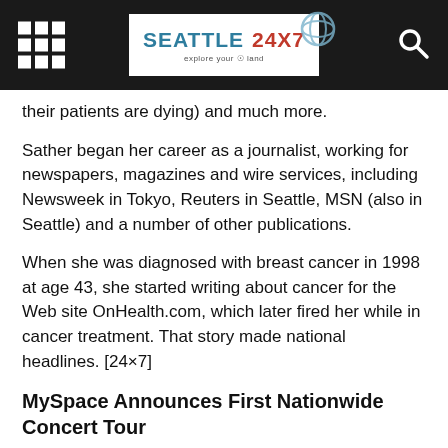Seattle 24x7 — explore your land
their patients are dying) and much more.
Sather began her career as a journalist, working for newspapers, magazines and wire services, including Newsweek in Tokyo, Reuters in Seattle, MSN (also in Seattle) and a number of other publications.
When she was diagnosed with breast cancer in 1998 at age 43, she started writing about cancer for the Web site OnHealth.com, which later fired her while in cancer treatment. That story made national headlines. [24×7]
MySpace Announces First Nationwide Concert Tour
MySpace, one of America's most trafficked websites, has announced the official launch of the 'MySpace Music Tour,' a new series of MySpace produced and branded concert events. The first MySpace